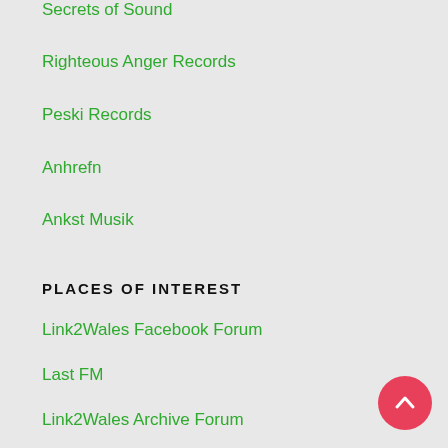Secrets of Sound
Righteous Anger Records
Peski Records
Anhrefn
Ankst Musik
PLACES OF INTEREST
Link2Wales Facebook Forum
Last FM
Link2Wales Archive Forum
InstaCrud
YouTube